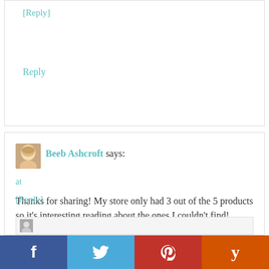[Reply]
Reply
Beeb Ashcroft says:
at
Thanks for sharing! My store only had 3 out of the 5 products so it’s interesting reading about the ones I couldn’t find!
[Reply]